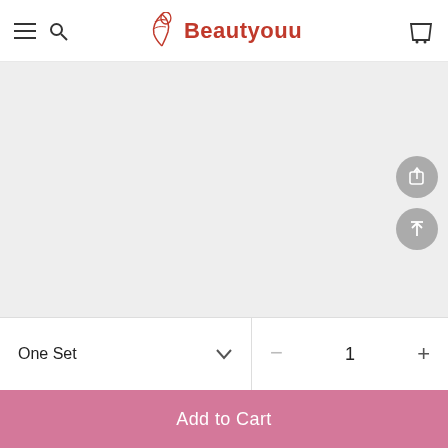Beautyouu
[Figure (photo): Product image area — light gray placeholder background with two circular gray action buttons (share and scroll-to-top) on the right side]
One Set
1
Add to Cart